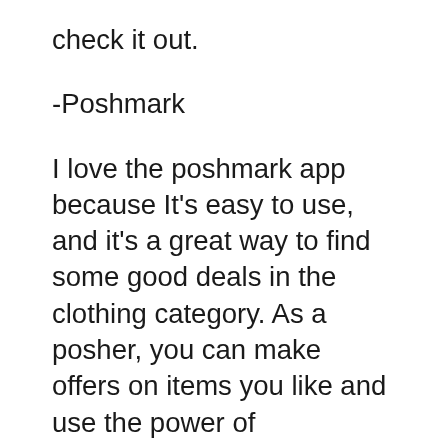check it out.
-Poshmark
I love the poshmark app because It’s easy to use, and it’s a great way to find some good deals in the clothing category. As a posher, you can make offers on items you like and use the power of negotiation to your advantage to ask poshers to lower their prices. You can also follow the sellers you like and join parties based on brands or item categories you’re interested in.The Poshmark App made it to my list of smart ways to shop in 2019 because it allows it’s members to be buyers and sellers at the same time. It’s a great way to clean up your closet and get rid of the clothes you don’t use anymore If you